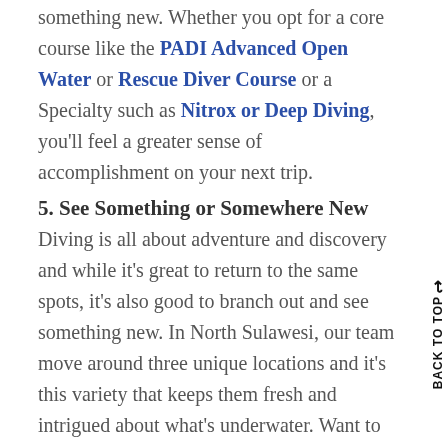something new. Whether you opt for a core course like the PADI Advanced Open Water or Rescue Diver Course or a Specialty such as Nitrox or Deep Diving, you'll feel a greater sense of accomplishment on your next trip.
5. See Something or Somewhere New
Diving is all about adventure and discovery and while it's great to return to the same spots, it's also good to branch out and see something new. In North Sulawesi, our team move around three unique locations and it's this variety that keeps them fresh and intrigued about what's underwater. Want to join us on